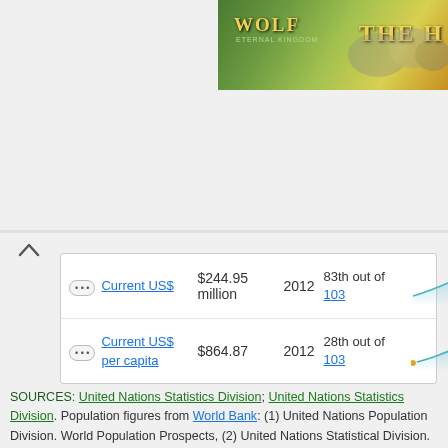[Figure (screenshot): Advertisement banner for Wolf game showing wolves in a field with text 'WOLF' and 'THE H...']
|  | Type | Value | Year | Rank | Trend |
| --- | --- | --- | --- | --- | --- |
| ... | Current US$ | $244.95 million | 2012 | 83th out of 103 | trend chart |
| ... | Current US$ per capita | $864.87 | 2012 | 28th out of 103 | trend chart |
SOURCES: United Nations Statistics Division; United Nations Statistics Division. Population figures from World Bank: (1) United Nations Population Division. World Population Prospects, (2) United Nations Statistical Division. Population and Vital Statistics Report (various years), (3) Census reports and other statistical publications from national statistical offices, (4) Eurostat: Demographic
▾ SHOW ALL
You May Like
Sponsored Links by Taboola
[Figure (photo): Close-up photo of a blonde woman's face]